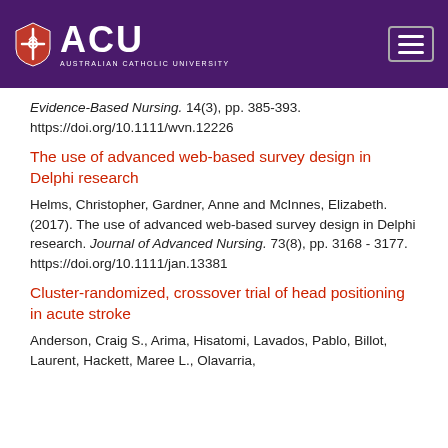[Figure (logo): Australian Catholic University (ACU) logo on purple header with hamburger menu button]
Evidence-Based Nursing. 14(3), pp. 385-393. https://doi.org/10.1111/wvn.12226
The use of advanced web-based survey design in Delphi research
Helms, Christopher, Gardner, Anne and McInnes, Elizabeth. (2017). The use of advanced web-based survey design in Delphi research. Journal of Advanced Nursing. 73(8), pp. 3168 - 3177. https://doi.org/10.1111/jan.13381
Cluster-randomized, crossover trial of head positioning in acute stroke
Anderson, Craig S., Arima, Hisatomi, Lavados, Pablo, Billot, Laurent, Hackett, Maree L., Olavarria,